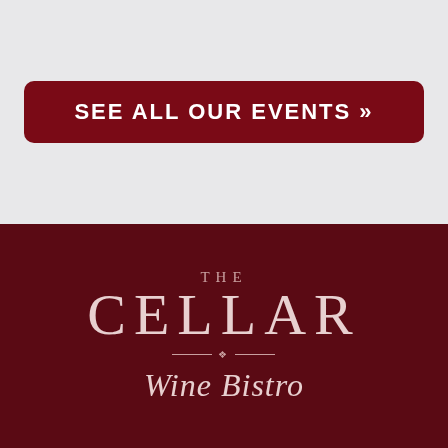SEE ALL OUR EVENTS »
[Figure (logo): The Cellar Wine Bistro logo with stylized serif text on dark red background]